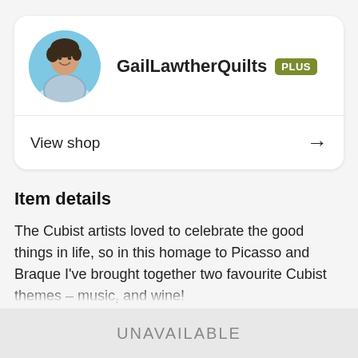[Figure (photo): Circular avatar photo of a person (GailLawtherQuilts) against a blue sky background]
GailLawtherQuilts PLUS
View shop →
Item details
The Cubist artists loved to celebrate the good things in life, so in this homage to Picasso and Braque I've brought together two favourite Cubist themes – music, and wine!
I've picked bright prints and batiks to create a joyful mood
UNAVAILABLE